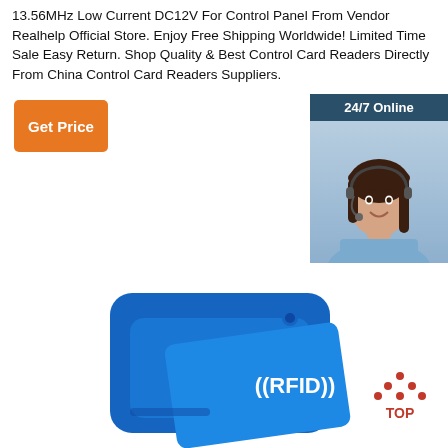13.56MHz Low Current DC12V For Control Panel From Vendor Realhelp Official Store. Enjoy Free Shipping Worldwide! Limited Time Sale Easy Return. Shop Quality & Best Control Card Readers Directly From China Control Card Readers Suppliers.
[Figure (other): Orange 'Get Price' button]
[Figure (other): 24/7 Online chat widget with photo of female customer service agent wearing headset, text 'Click here for free chat!' and orange QUOTATION button]
[Figure (photo): Blue RFID card reader product with ((RFID)) text on a blue card, and a TOP button icon in the bottom right corner]